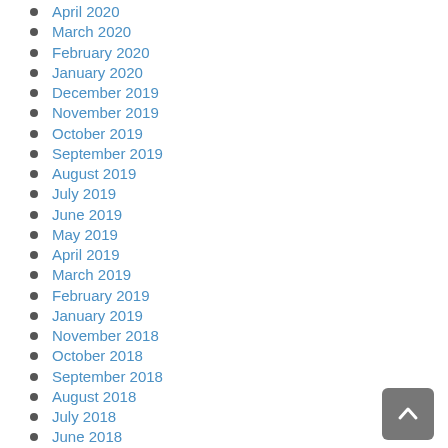April 2020
March 2020
February 2020
January 2020
December 2019
November 2019
October 2019
September 2019
August 2019
July 2019
June 2019
May 2019
April 2019
March 2019
February 2019
January 2019
November 2018
October 2018
September 2018
August 2018
July 2018
June 2018